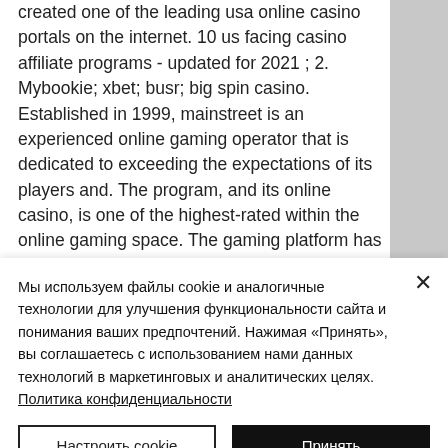created one of the leading usa online casino portals on the internet. 10 us facing casino affiliate programs - updated for 2021 ; 2. Mybookie; xbet; busr; big spin casino. Established in 1999, mainstreet is an experienced online gaming operator that is dedicated to exceeding the expectations of its players and. The program, and its online casino, is one of the highest-rated within the online gaming space. The gaming platform has all the major games players have come
Мы используем файлы cookie и аналогичные технологии для улучшения функциональности сайта и понимания ваших предпочтений. Нажимая «Принять», вы соглашаетесь с использованием нами данных технологий в маркетинговых и аналитических целях. Политика конфиденциальности
Настроить cookie
Принять